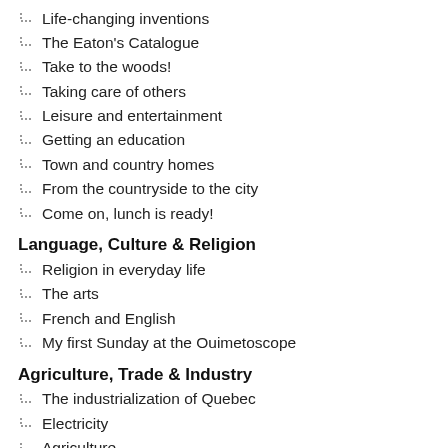Life-changing inventions
The Eaton's Catalogue
Take to the woods!
Taking care of others
Leisure and entertainment
Getting an education
Town and country homes
From the countryside to the city
Come on, lunch is ready!
Language, Culture & Religion
Religion in everyday life
The arts
French and English
My first Sunday at the Ouimetoscope
Agriculture, Trade & Industry
The industrialization of Quebec
Electricity
Agriculture
Exploiting natural resources